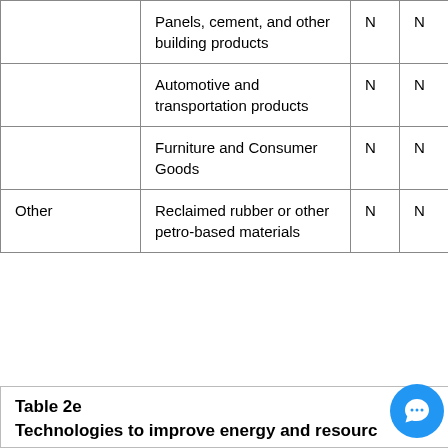|  | Panels, cement, and other building products | N | N |
|  | Automotive and transportation products | N | N |
|  | Furniture and Consumer Goods | N | N |
| Other | Reclaimed rubber or other petro-based materials | N | N |
Table 2e
Technologies to improve energy and resource